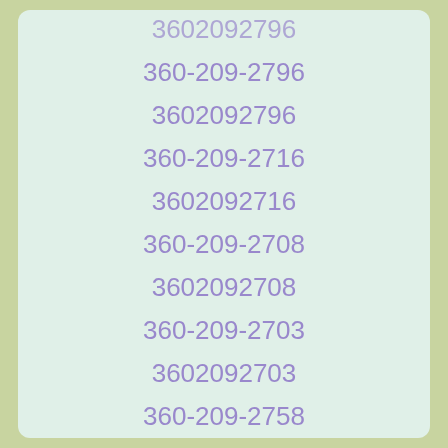3602092796 (partial, top)
360-209-2796
3602092796
360-209-2716
3602092716
360-209-2708
3602092708
360-209-2703
3602092703
360-209-2758
3602092758 (partial, bottom)